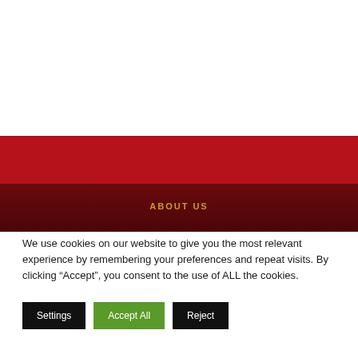[Figure (other): Red banner section with dark red gradient lower band, and 'ABOUT US' text label in gold/amber color]
We use cookies on our website to give you the most relevant experience by remembering your preferences and repeat visits. By clicking “Accept”, you consent to the use of ALL the cookies.
Settings
Accept All
Reject